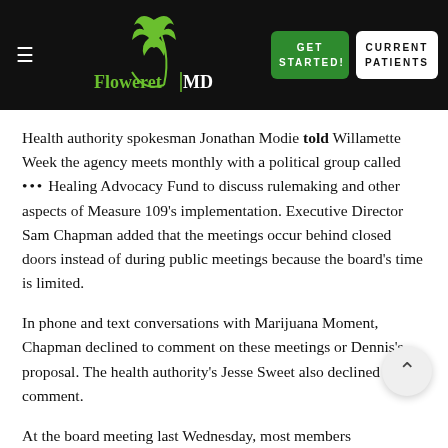FloweretMD — navigation bar with GET STARTED and CURRENT PATIENTS buttons
Health authority spokesman Jonathan Modie told Willamette Week the agency meets monthly with a political group called ••• Healing Advocacy Fund to discuss rulemaking and other aspects of Measure 109's implementation. Executive Director Sam Chapman added that the meetings occur behind closed doors instead of during public meetings because the board's time is limited.
In phone and text conversations with Marijuana Moment, Chapman declined to comment on these meetings or Dennis's proposal. The health authority's Jesse Sweet also declined to comment.
At the board meeting last Wednesday, most members...